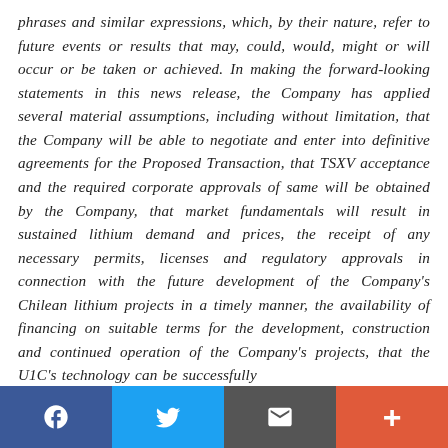phrases and similar expressions, which, by their nature, refer to future events or results that may, could, would, might or will occur or be taken or achieved. In making the forward-looking statements in this news release, the Company has applied several material assumptions, including without limitation, that the Company will be able to negotiate and enter into definitive agreements for the Proposed Transaction, that TSXV acceptance and the required corporate approvals of same will be obtained by the Company, that market fundamentals will result in sustained lithium demand and prices, the receipt of any necessary permits, licenses and regulatory approvals in connection with the future development of the Company's Chilean lithium projects in a timely manner, the availability of financing on suitable terms for the development, construction and continued operation of the Company's projects, that the U1C's technology can be successfully
Facebook | Twitter | Email | +